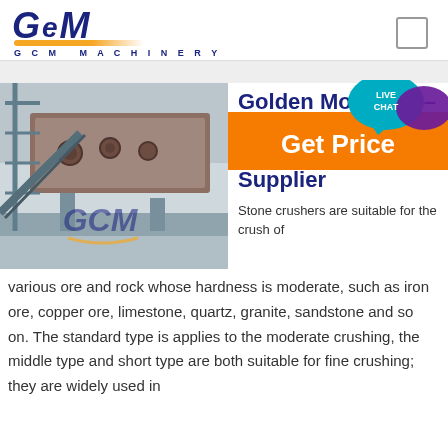[Figure (logo): GCM Machinery logo with stylized italic lettering in dark navy blue, golden arc underline, and 'G C M  MACHINERY' subtitle]
[Figure (other): Orange 'Get Price' button with teal 'LIVE CHAT' speech bubble in top right area]
[Figure (photo): Photo of a large industrial stone crushing plant machine structure with steel framework and equipment, with GCM logo watermark overlaid]
Golden Mountain – Reliable Stone Crushing Plant Supplier
Stone crushers are suitable for the crush of various ore and rock whose hardness is moderate, such as iron ore, copper ore, limestone, quartz, granite, sandstone and so on. The standard type is applies to the moderate crushing, the middle type and short type are both suitable for fine crushing; they are widely used in